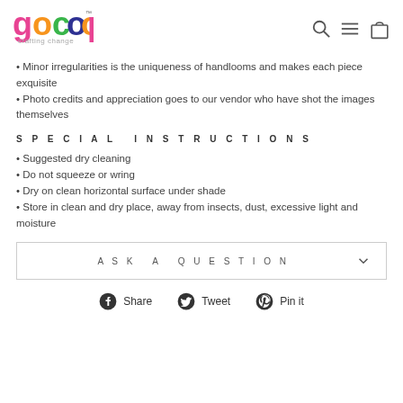gocoop crafting change [logo] [search icon] [menu icon] [bag icon]
• Minor irregularities is the uniqueness of handlooms and makes each piece exquisite
• Photo credits and appreciation goes to our vendor who have shot the images themselves
SPECIAL INSTRUCTIONS
• Suggested dry cleaning
• Do not squeeze or wring
• Dry on clean horizontal surface under shade
• Store in clean and dry place, away from insects, dust, excessive light and moisture
ASK A QUESTION
Share  Tweet  Pin it